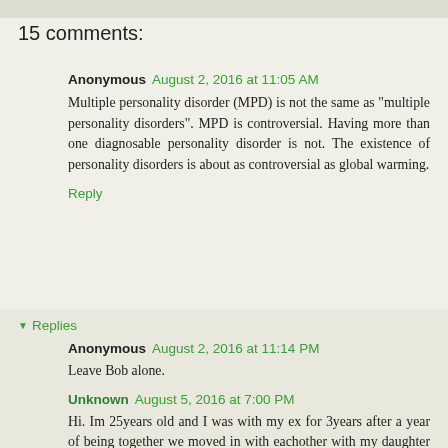15 comments:
Anonymous  August 2, 2016 at 11:05 AM
Multiple personality disorder (MPD) is not the same as "multiple personality disorders". MPD is controversial. Having more than one diagnosable personality disorder is not. The existence of personality disorders is about as controversial as global warming.
Reply
Replies
Anonymous  August 2, 2016 at 11:14 PM
Leave Bob alone.
Unknown  August 5, 2016 at 7:00 PM
Hi. Im 25years old and I was with my ex for 3years after a year of being together we moved in with eachother with my daughter who calls my ex daddy